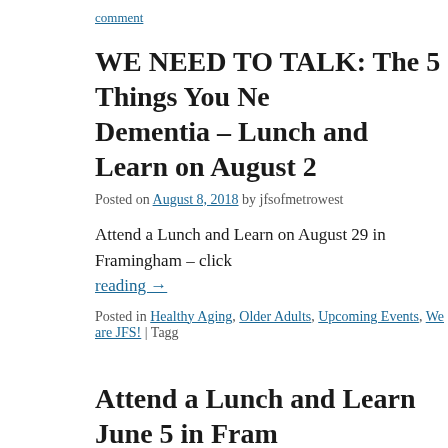comment
WE NEED TO TALK: The 5 Things You Ne... Dementia – Lunch and Learn on August 2...
Posted on August 8, 2018 by jfsofmetrowest
Attend a Lunch and Learn on August 29 in Framingham – click... reading →
Posted in Healthy Aging, Older Adults, Upcoming Events, We are JFS! | Tagg...
Attend a Lunch and Learn June 5 in Fram...
Posted on May 16, 2018 by jfsofmetrowest
Please join Purvi Patel, Doctor of Pharmacy from Massachusett... Sciences, and learn information about the prevalence of heart di... and what lifestyle and diet modifications can help the heart stay... pressure goals, good and bad cho-lesterol goals, learn about pol... ...